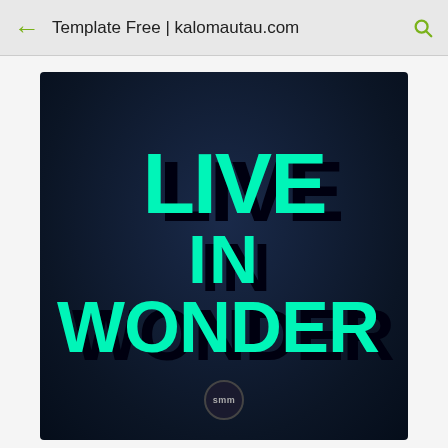Template Free | kalomautau.com
[Figure (illustration): Dark navy blue poster with bold chunky turquoise/cyan text reading 'LIVE IN WONDER' in three lines, with black drop shadow. Small circular logo badge at bottom center with 'smm' text.]